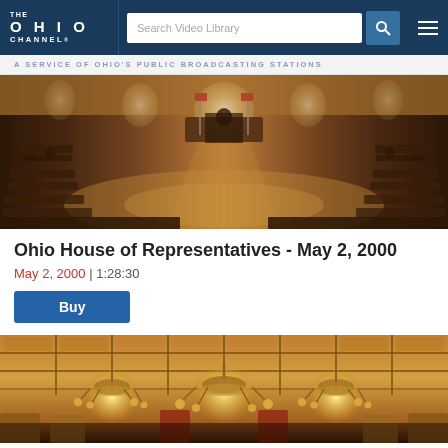The Ohio Channel — Search Video Library
A SERVICE OF OHIO'S PUBLIC BROADCASTING STATIONS
[Figure (photo): Ohio legislative chamber / House of Representatives room with rows of dark wooden desks arranged in a semicircle, ornate ceiling and walls, American flags at the front podium]
Ohio House of Representatives - May 2, 2000
May 2, 2000 | 1:28:30
Buy
[Figure (photo): Ohio Statehouse rotunda or ceremonial hall interior with ornate coffered ceiling, large chandeliers, and warm amber lighting]